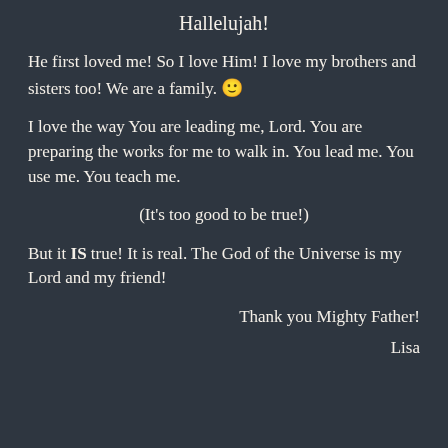Hallelujah!
He first loved me! So I love Him! I love my brothers and sisters too! We are a family. 🙂
I love the way You are leading me, Lord. You are preparing the works for me to walk in. You lead me. You use me. You teach me.
(It's too good to be true!)
But it IS true! It is real. The God of the Universe is my Lord and my friend!
Thank you Mighty Father!
Lisa